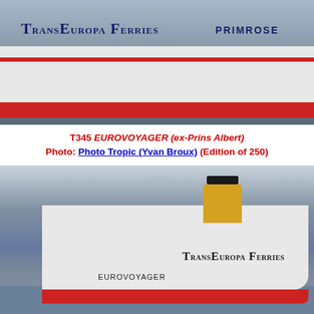[Figure (photo): Side view of TransEuropa Ferries vessel named PRIMROSE at dock, white hull with red stripe along waterline, TransEuropa Ferries logo on hull]
T345 EUROVOYAGER (ex-Prins Albert) Photo: Photo Tropic (Yvan Broux) (Edition of 250)
[Figure (photo): Three-quarter bow view of TransEuropa Ferries vessel named EUROVOYAGER at sea, white hull with red stripe, yellow funnel with black top, TransEuropa Ferries branding on hull]